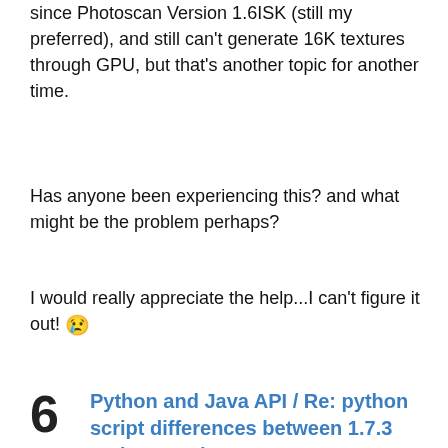since Photoscan Version 1.6ISK (still my preferred), and still can't generate 16K textures through GPU, but that's another topic for another time.
Has anyone been experiencing this? and what might be the problem perhaps?
I would really appreciate the help...I can't figure it out! 😢
Python and Java API / Re: python script differences between 1.7.3 and 1.7.4 releases
« on: October 03, 2021, 01:23:54 AM »
Are there script changes between 1.6.3 and 1.7.3?